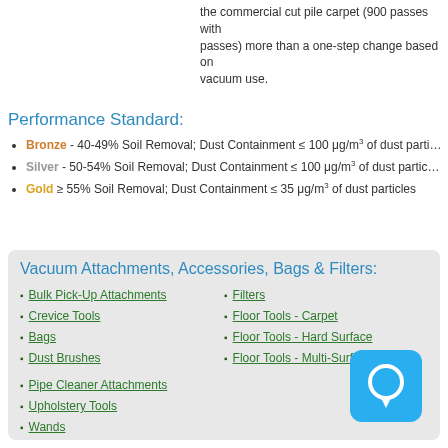the commercial cut pile carpet (900 passes with passes) more than a one-step change based on vacuum use.
Performance Standard:
Bronze - 40-49% Soil Removal; Dust Containment ≤ 100 μg/m³ of dust parti...
Silver - 50-54% Soil Removal; Dust Containment ≤ 100 μg/m³ of dust partic...
Gold ≥ 55% Soil Removal; Dust Containment ≤ 35 μg/m³ of dust particles
Vacuum Attachments, Accessories, Bags & Filters:
Bulk Pick-Up Attachments
Crevice Tools
Bags
Dust Brushes
Filters
Floor Tools - Carpet
Floor Tools - Hard Surface
Floor Tools - Multi-Surface
Pipe Cleaner Attachments
Upholstery Tools
Wands
[Figure (illustration): Blue chat/message bubble icon]